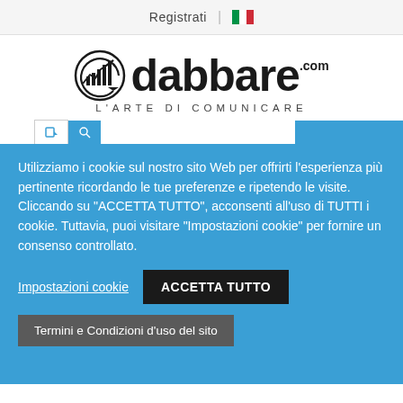Registrati | 🇮🇹
[Figure (logo): dabbare.com logo with circular chart icon and tagline L'ARTE DI COMUNICARE]
Utilizziamo i cookie sul nostro sito Web per offrirti l'esperienza più pertinente ricordando le tue preferenze e ripetendo le visite. Cliccando su "ACCETTA TUTTO", acconsenti all'uso di TUTTI i cookie. Tuttavia, puoi visitare "Impostazioni cookie" per fornire un consenso controllato.
Impostazioni cookie
ACCETTA TUTTO
Termini e Condizioni d'uso del sito